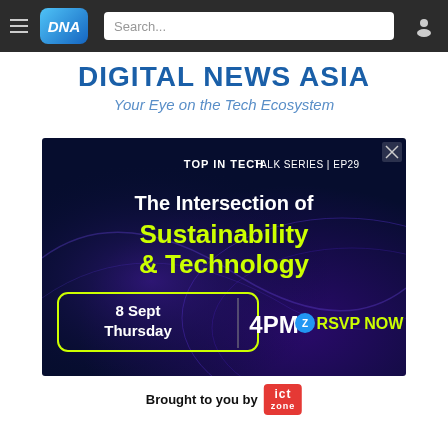DNA — Digital News Asia — Search...
DIGITAL NEWS ASIA
Your Eye on the Tech Ecosystem
[Figure (infographic): Advertisement banner for 'Top In Tech Talk Series EP29' about 'The Intersection of Sustainability & Technology', scheduled 8 Sept Thursday 4PM, with RSVP NOW button. Dark blue background with neon yellow and white text. Brought to you by ICT Zone.]
Brought to you by ICT zone